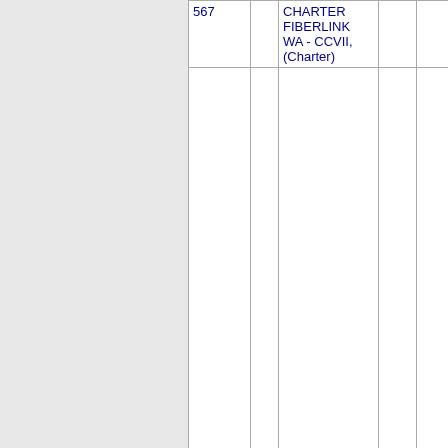| Number | State | Company | Code | City |
| --- | --- | --- | --- | --- |
| 567 |  | CHARTER FIBERLINK WA - CCVII, (Charter) |  |  |
| Thousands block for 509-567 |  |  |  |  |
| 509-567-7 | WA | CHARTER FIBERLINK WA - | 814D | PASCO |